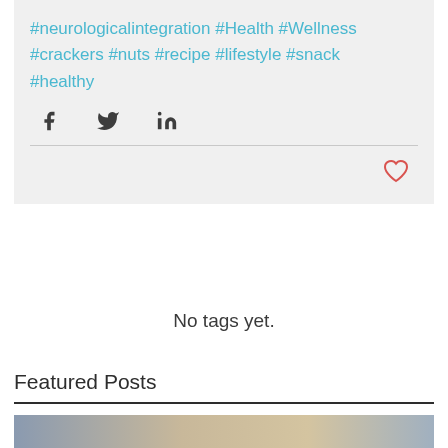#neurologicalintegration #Health #Wellness #crackers #nuts #recipe #lifestyle #snack #healthy
[Figure (other): Social sharing icons: Facebook, Twitter, LinkedIn]
[Figure (other): Heart/like icon (outline, red/coral color)]
No tags yet.
Featured Posts
[Figure (photo): Partial photo of a person in a kitchen setting with bottles visible]